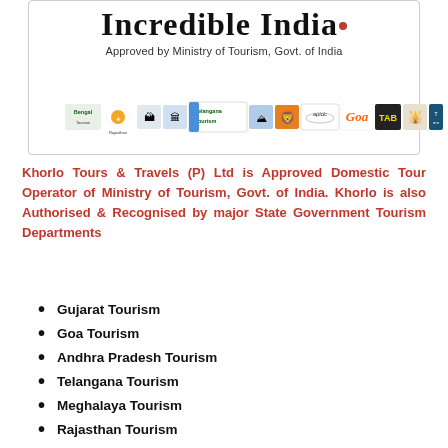[Figure (logo): Incredible India logo with red dot, 'Approved by Ministry of Tourism, Govt. of India' text, and a strip of state tourism board logos including Bengal, Rajasthan, Goa, Telangana Tourism, aptdc, GOA, TAB, and others, inside a bordered box.]
Khorlo Tours & Travels (P) Ltd is Approved Domestic Tour Operator of Ministry of Tourism, Govt. of India. Khorlo is also Authorised & Recognised by major State Government Tourism Departments
Gujarat Tourism
Goa Tourism
Andhra Pradesh Tourism
Telangana Tourism
Meghalaya Tourism
Rajasthan Tourism
Jammu & Kashmir Tourism
Tripura Tourism